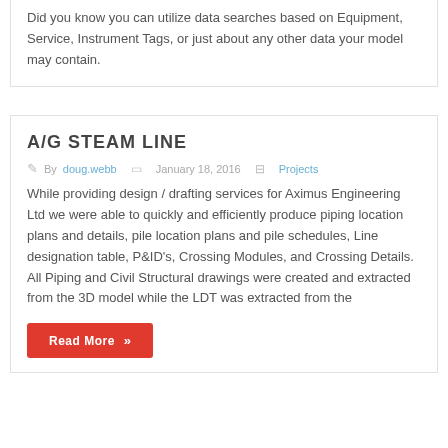Did you know you can utilize data searches based on Equipment, Service, Instrument Tags, or just about any other data your model may contain.
A/G STEAM LINE
By doug.webb  January 18, 2016  Projects
While providing design / drafting services for Aximus Engineering Ltd we were able to quickly and efficiently produce piping location plans and details, pile location plans and pile schedules, Line designation table, P&ID's, Crossing Modules, and Crossing Details. All Piping and Civil Structural drawings were created and extracted from the 3D model while the LDT was extracted from the
Read More »